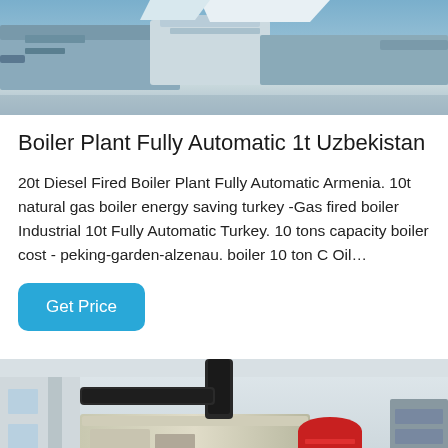[Figure (photo): Industrial boiler or manufacturing equipment in a factory setting, viewed from above/side, light blue and grey tones]
Boiler Plant Fully Automatic 1t Uzbekistan
20t Diesel Fired Boiler Plant Fully Automatic Armenia. 10t natural gas boiler energy saving turkey -Gas fired boiler Industrial 10t Fully Automatic Turkey. 10 tons capacity boiler cost - peking-garden-alzenau. boiler 10 ton C Oil…
Get Price
[Figure (photo): Industrial boiler plant interior showing large boiler unit with black exhaust pipe, red cylindrical tank, white building interior with windows]